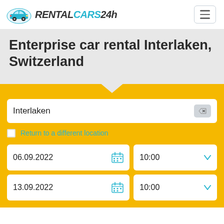[Figure (logo): RentalCars24h logo with stylized car and bold italic text]
Enterprise car rental Interlaken, Switzerland
Interlaken
Return to a different location
06.09.2022
10:00
13.09.2022
10:00